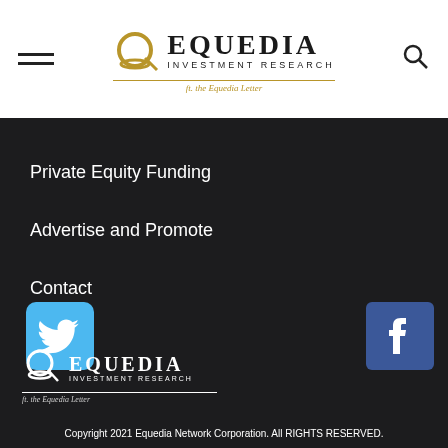[Figure (logo): Equedia Investment Research logo with hamburger menu and search icon in white header]
Private Equity Funding
Advertise and Promote
Contact
[Figure (logo): Twitter social media icon (blue rounded square with bird)]
[Figure (logo): Facebook social media icon (blue square with f)]
[Figure (logo): Equedia Investment Research footer logo (white version)]
Copyright 2021 Equedia Network Corporation. All RIGHTS RESERVED.